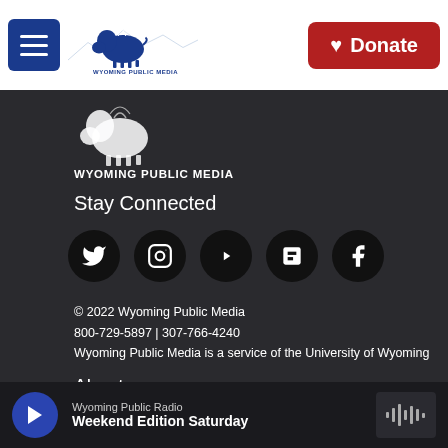Wyoming Public Media — Navigation bar with hamburger menu, logo, and Donate button
[Figure (logo): Wyoming Public Media bison logo with mountains and radio waves, blue and white]
WYOMING PUBLIC MEDIA
Stay Connected
[Figure (infographic): Five social media icon circles: Twitter, Instagram, YouTube, Flipboard, Facebook]
© 2022 Wyoming Public Media
800-729-5897 | 307-766-4240
Wyoming Public Media is a service of the University of Wyoming
About
Contact
Donate
Wyoming Public Radio — Weekend Edition Saturday